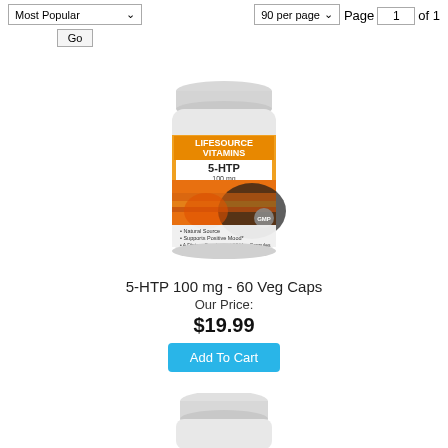Most Popular
Go
90 per page
Page 1 of 1
[Figure (photo): Bottle of LifeSource Vitamins 5-HTP 100mg, 60 Veg Capsules supplement]
5-HTP 100 mg - 60 Veg Caps
Our Price:
$19.99
Add To Cart
[Figure (photo): Top portion of a second supplement bottle, partially visible at bottom of page]